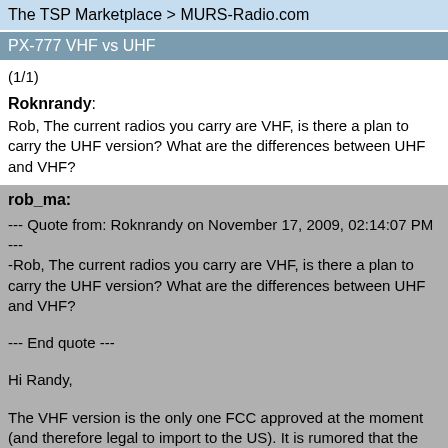The TSP Marketplace > MURS-Radio.com
PX-777 VHF vs UHF
(1/1)
Roknrandy:
Rob, The current radios you carry are VHF, is there a plan to carry the UHF version? What are the differences between UHF and VHF?
rob_ma:

--- Quote from: Roknrandy on November 17, 2009, 02:14:07 PM ---
Rob, The current radios you carry are VHF, is there a plan to carry the UHF version? What are the differences between UHF and VHF?

--- End quote ---

Hi Randy,

The VHF version is the only one FCC approved at the moment (and therefore legal to import to the US). It is rumored that the UHF version will be following soon. (MURS is VHF and